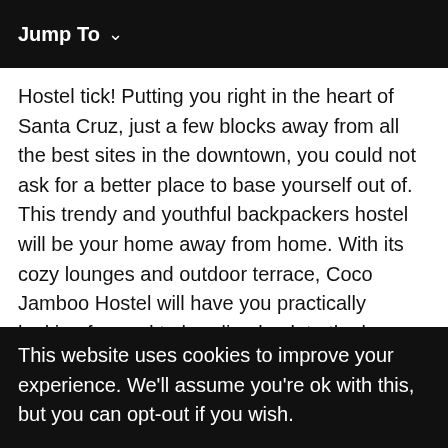Jump To ∨
Hostel tick! Putting you right in the heart of Santa Cruz, just a few blocks away from all the best sites in the downtown, you could not ask for a better place to base yourself out of. This trendy and youthful backpackers hostel will be your home away from home. With its cozy lounges and outdoor terrace, Coco Jamboo Hostel will have you practically looking forward to heading back to the lounge to kick back and hang out with the other backpackers. When you start getting hungry, Coco Jamboo Hostel has you covered! With a shared kitchen and even free breakfast served every morning, you will never have to wander too far to find a bite
This website uses cookies to improve your experience. We'll assume you're ok with this, but you can opt-out if you wish.